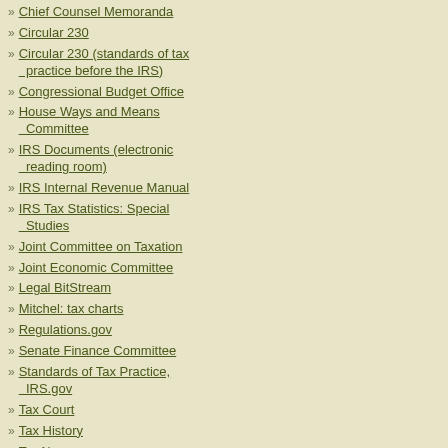Chief Counsel Memoranda
Circular 230
Circular 230 (standards of tax practice before the IRS)
Congressional Budget Office
House Ways and Means Committee
IRS Documents (electronic reading room)
IRS Internal Revenue Manual
IRS Tax Statistics: Special Studies
Joint Committee on Taxation
Joint Economic Committee
Legal BitStream
Mitchel: tax charts
Regulations.gov
Senate Finance Committee
Standards of Tax Practice, IRS.gov
Tax Court
Tax History
TaxAlmanac
TaxLinks.com (IRS Revenue Rulings)
james said...
here is my idea there mojo back do you do the ri law, try to recyc if you do these t ask the average taxes to suppor who smoke, do extra heath cos tax cost),dont g its time for peop living beyond th average hard w my plan keep the incom i picked it can b then get rid of a then have a con no tax on non p society can dec tax fast food, sm under 21, get ca the highest (call care cost) and n the habit - beca wants to) tax the rest of p instead of havin weekend workc couple years (li farms and other demand for illec